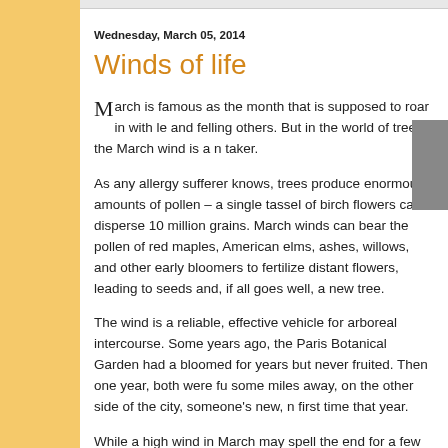Wednesday, March 05, 2014
Winds of life
March is famous as the month that is supposed to roar in with le and felling others. But in the world of trees, the March wind is a n taker.
As any allergy sufferer knows, trees produce enormous amounts of pollen – a single tassel of birch flowers can disperse 10 million grains. March winds can bear the pollen of red maples, American elms, ashes, willows, and other early bloomers to fertilize distant flowers, leading to seeds and, if all goes well, a new tree.
The wind is a reliable, effective vehicle for arboreal intercourse. Some years ago, the Paris Botanical Garden had a bloomed for years but never fruited. Then one year, both were fu some miles away, on the other side of the city, someone's new, n first time that year.
While a high wind in March may spell the end for a few old trees